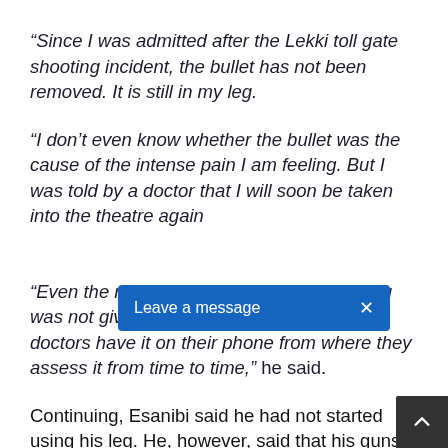“Since I was admitted after the Lekki toll gate shooting incident, the bullet has not been removed. It is still in my leg.
“I don’t even know whether the bullet was the cause of the intense pain I am feeling. But I was told by a doctor that I will soon be taken into the theatre again
“Even the result of the X-ray done on my leg was not given to me. But I observe that the doctors have it on their phone from where they assess it from time to time,” he said.
Continuing, Esanibi said he had not started using his leg. He, however, said that his gunsh